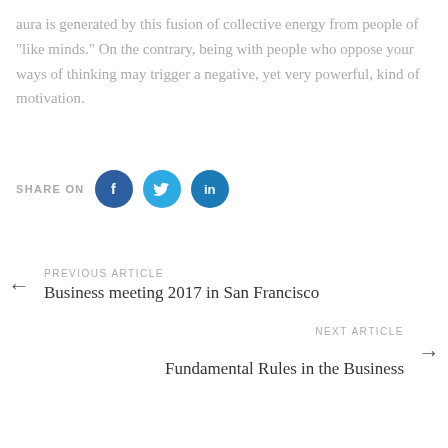aura is generated by this fusion of collective energy from people of “like minds.” On the contrary, being with people who oppose your ways of thinking may trigger a negative, yet very powerful, kind of motivation.
SHARE ON
PREVIOUS ARTICLE
Business meeting 2017 in San Francisco
NEXT ARTICLE
Fundamental Rules in the Business